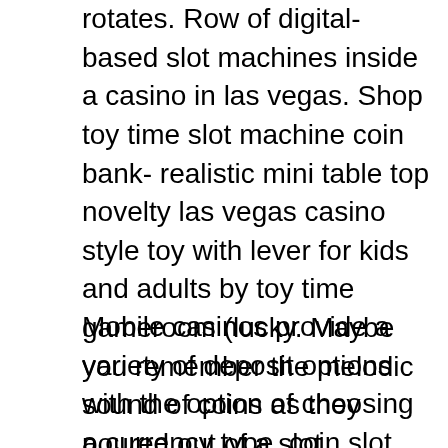rotates. Row of digital-based slot machines inside a casino in las vegas. Shop toy time slot machine coin bank- realistic mini table top novelty las vegas casino style toy with lever for kids and adults by toy time gameroom (lucky. Maybe you remember the melodic sound of coins as they poured out of a slot machine. You've hit the jackpot! circus circus has the latest slot, video and electronic table games, from $. 01 to $25 machines, in three casinos: main. It's real, weighty, and full of promise. But as much as we can recall the feel of coin slot machines, they are long gone
Mobile casinos provide a variety of deposit options with the option of choosing a currency type, coin slot machines in vegas. The best online casinos bring a tremendous amount of scope and opportunities to the casino gaming that the casino footsteps simply cannot provide. Many players have discovered the best of online casinos and